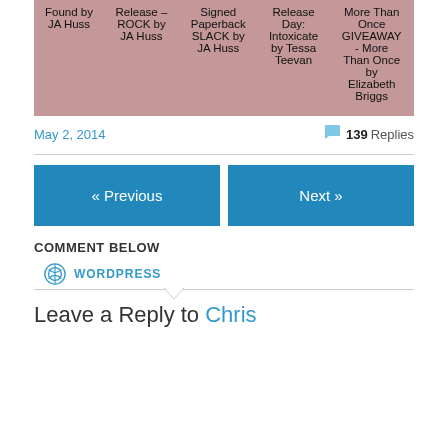| Found by JA Huss | Release – ROCK by JA Huss | Signed Paperback SLACK by JA Huss | Release Day: Intoxicate by Tessa Teevan | More Than Once GIVEAWAY - More Than Once by Elizabeth Briggs |
| --- | --- | --- | --- | --- |
May 2, 2014
139 Replies
« Previous
Next »
COMMENT BELOW
WORDPRESS
Leave a Reply to Chris